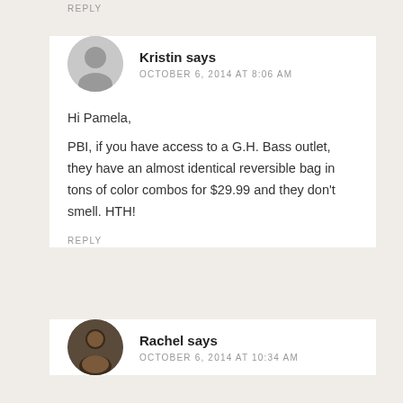REPLY
Kristin says
OCTOBER 6, 2014 AT 8:06 AM

Hi Pamela,
PBI, if you have access to a G.H. Bass outlet, they have an almost identical reversible bag in tons of color combos for $29.99 and they don't smell. HTH!
REPLY
Rachel says
OCTOBER 6, 2014 AT 10:34 AM